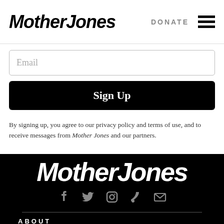Mother Jones | DONATE
Email
Sign Up
By signing up, you agree to our privacy policy and terms of use, and to receive messages from Mother Jones and our partners.
[Figure (logo): Mother Jones logo in white on black background]
[Figure (infographic): Social media icons: Facebook, Twitter, Instagram, RSS, Email]
ABOUT
Our Staff